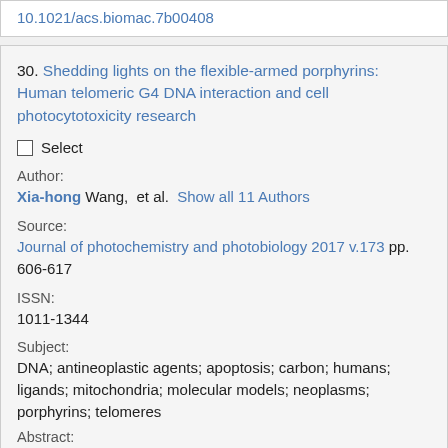10.1021/acs.biomac.7b00408
30. Shedding lights on the flexible-armed porphyrins: Human telomeric G4 DNA interaction and cell photocytotoxicity research
Select
Author:
Xia-hong Wang,  et al.  Show all 11 Authors
Source:
Journal of photochemistry and photobiology 2017 v.173 pp. 606-617
ISSN:
1011-1344
Subject:
DNA; antineoplastic agents; apoptosis; carbon; humans; ligands; mitochondria; molecular models; neoplasms; porphyrins; telomeres
Abstract: